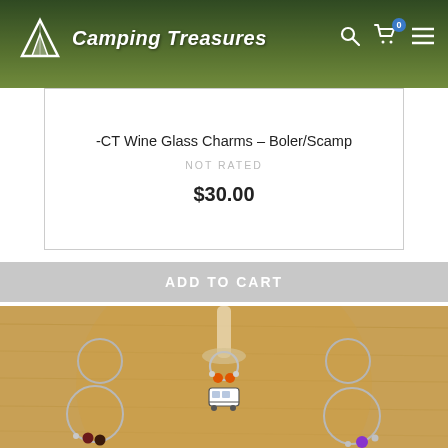[Figure (photo): Camping Treasures website header with logo (mountain/leaf icon) and site name on a green foliage background, with search, cart (badge showing 0), and menu icons top right.]
-CT Wine Glass Charms – Boler/Scamp
NOT RATED
$30.00
ADD TO CART
[Figure (photo): Product photo of wine glass charms arranged around a wine glass stem on a wooden surface. Charms feature a white Boler/Scamp trailer pendant with colorful beads: orange, brown/dark red, and purple beads on silver wire hoop rings.]